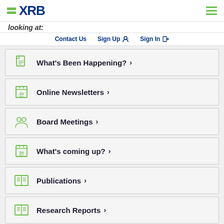XRB logo and hamburger menu
looking at:
Contact Us
Sign Up
Sign In
What's Been Happening? >
Online Newsletters >
Board Meetings >
What's coming up? >
Publications >
Research Reports >